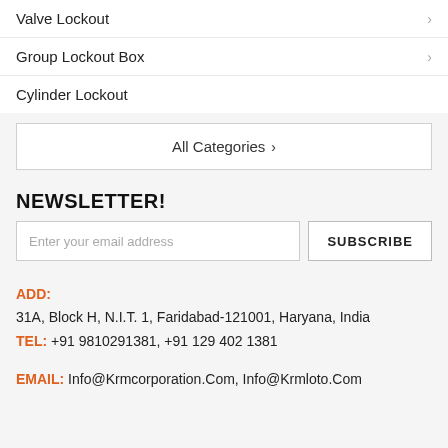Valve Lockout
Group Lockout Box
Cylinder Lockout
All Categories ›
NEWSLETTER!
Enter your email address  SUBSCRIBE
ADD: 31A, Block H, N.I.T. 1, Faridabad-121001, Haryana, India
TEL: +91 9810291381, +91 129 402 1381
EMAIL: Info@Krmcorporation.Com, Info@Krmloto.Com